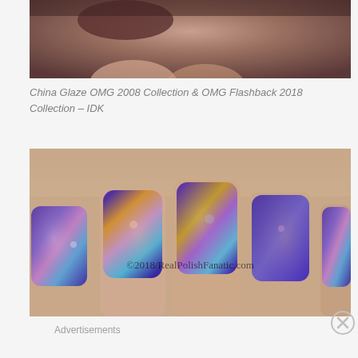[Figure (photo): Close-up photo of fingers/hand with holographic purple nail polish, blurred background, top portion of image]
China Glaze OMG 2008 Collection & OMG Flashback 2018 Collection – IDK
[Figure (photo): Close-up photo of four fingernails painted with holographic blue/purple nail polish showing multicolor shimmer effect, with watermark ©2018/RealPolishFanatic.com]
Advertisements